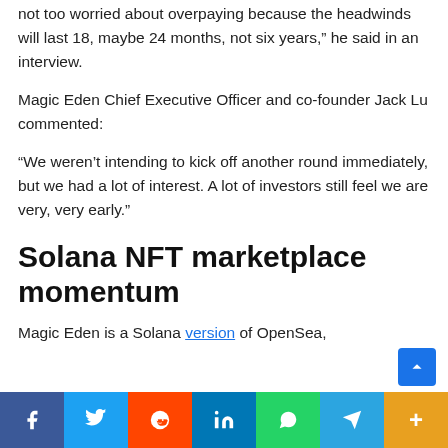not too worried about overpaying because the headwinds will last 18, maybe 24 months, not six years,” he said in an interview.
Magic Eden Chief Executive Officer and co-founder Jack Lu commented:
“We weren’t intending to kick off another round immediately, but we had a lot of interest. A lot of investors still feel we are very, very early.”
Solana NFT marketplace momentum
Magic Eden is a Solana version of OpenSea,
Facebook Twitter Reddit LinkedIn WhatsApp Telegram More